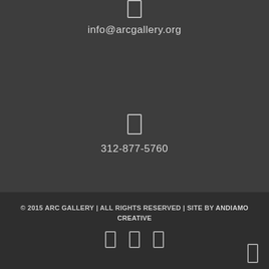[Figure (other): Small rectangle icon placeholder at top center]
info@arcgallery.org
[Figure (other): Small rectangle icon placeholder in middle center]
312-877-5760
© 2015 ARC GALLERY | ALL RIGHTS RESERVED | SITE BY ANDIAMO CREATIVE
[Figure (other): Three small social media icon placeholders in a row at bottom center, plus one icon placeholder at bottom right]